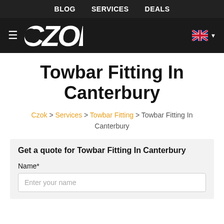BLOG  SERVICES  DEALS
[Figure (logo): CZOK logo with hamburger menu icon on left and UK flag with dropdown on right, on dark background]
Towbar Fitting In Canterbury
Czok > Services > Towbar Fitting > Towbar Fitting In Canterbury
Get a quote for Towbar Fitting In Canterbury
Name*
Enter your name